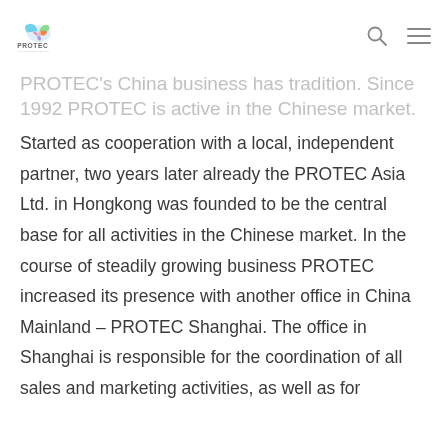PROTEC logo and navigation header
PROTEC's China business has tradition. Since 1992 PROTEC is active in the Chinese market.
Started as cooperation with a local, independent partner, two years later already the PROTEC Asia Ltd. in Hongkong was founded to be the central base for all activities in the Chinese market. In the course of steadily growing business PROTEC increased its presence with another office in China Mainland – PROTEC Shanghai. The office in Shanghai is responsible for the coordination of all sales and marketing activities, as well as for